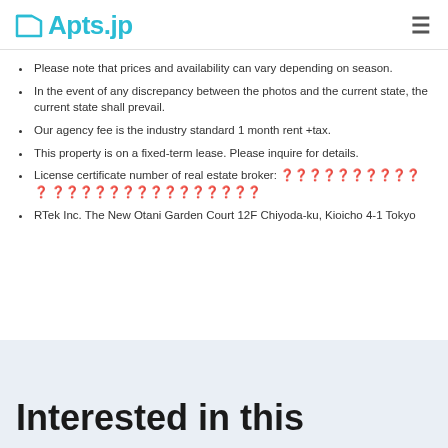Apts.jp
Please note that prices and availability can vary depending on season.
In the event of any discrepancy between the photos and the current state, the current state shall prevail.
Our agency fee is the industry standard 1 month rent +tax.
This property is on a fixed-term lease. Please inquire for details.
License certificate number of real estate broker: ❓❓❓❓❓❓❓❓❓❓ ❓ ❓❓❓❓❓❓❓❓❓❓❓❓❓❓❓
RTek Inc. The New Otani Garden Court 12F Chiyoda-ku, Kioicho 4-1 Tokyo
Interested in this